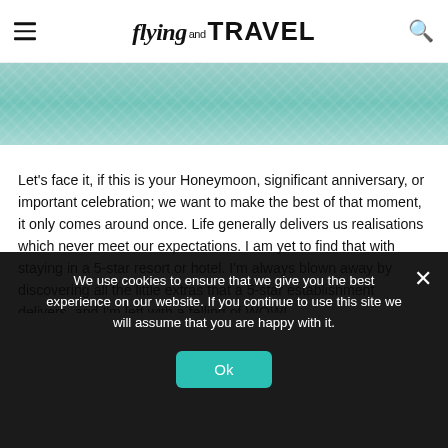flying and TRAVEL
[Figure (photo): Turquoise ocean water surface, aerial or close-up view, light teal/aqua color]
Let’s face it, if this is your Honeymoon, significant anniversary, or important celebration; we want to make the best of that moment, it only comes around once. Life generally delivers us realisations which never meet our expectations. I am yet to find that with staying in a 5-star resort or hotel. I’m always blown away by discovering all the little extras that a 5-star establishment delivers, and I’m left with a felling of WOW!
Will you return to the Maldives, or is this a once-in-a-lifetime visit? If you’re only going to visit here once, then maybe you
We use cookies to ensure that we give you the best experience on our website. If you continue to use this site we will assume that you are happy with it.